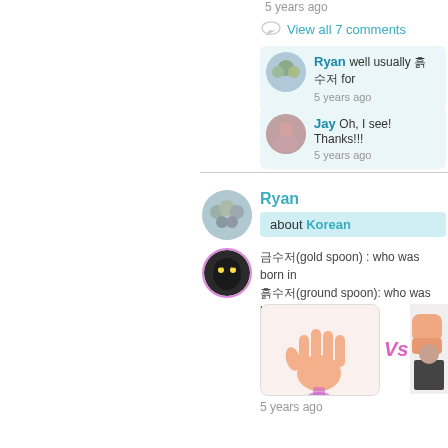5 years ago
View all 7 comments
Ryan well usually 흙수저 for
5 years ago
Jay Oh, I see! Thanks!!!
5 years ago
Ryan
about Korean
금수저(gold spoon) : who was born in
흙수저(ground spoon): who was born
[Figure (illustration): Hand open vs fist illustration with 'Vs' text]
5 years ago